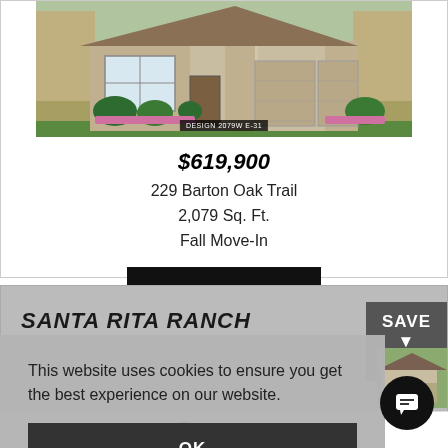[Figure (photo): Exterior rendering of a single-story home with two-car garage, stone facade, large window, manicured landscaping, labeled DESIGN 2079W E-31]
$619,900
229 Barton Oak Trail
2,079 Sq. Ft.
Fall Move-In
VIEW HOME
SANTA RITA RANCH
SAVE
This website uses cookies to ensure you get the best experience on our website.
OK
Back to Top